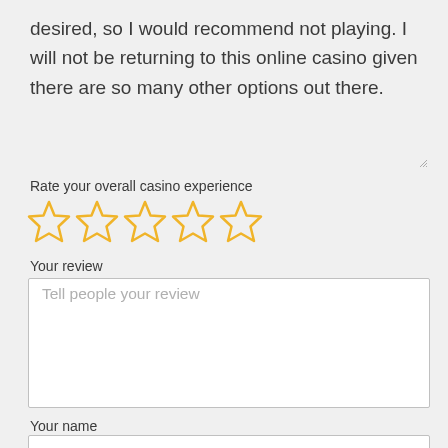desired, so I would recommend not playing. I will not be returning to this online casino given there are so many other options out there.
Rate your overall casino experience
[Figure (other): Five empty star rating icons in gold/yellow outline]
Your review
[Figure (screenshot): Text area input box with placeholder text 'Tell people your review']
Your name
[Figure (screenshot): Text input box for name entry, empty]